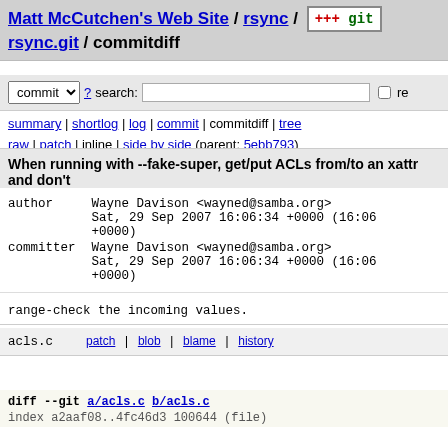Matt McCutchen's Web Site / rsync / rsync.git / commitdiff
commit ? search: re
summary | shortlog | log | commit | commitdiff | tree
raw | patch | inline | side by side (parent: 5ebb793)
When running with --fake-super, get/put ACLs from/to an xattr and don't
| author | Wayne Davison <wayned@samba.org> | Sat, 29 Sep 2007 16:06:34 +0000 (16:06 +0000) |
| committer | Wayne Davison <wayned@samba.org> | Sat, 29 Sep 2007 16:06:34 +0000 (16:06 +0000) |
range-check the incoming values.
acls.c  patch | blob | blame | history
diff --git a/acls.c b/acls.c
index a2aaf08..4fc46d3 100644 (file)